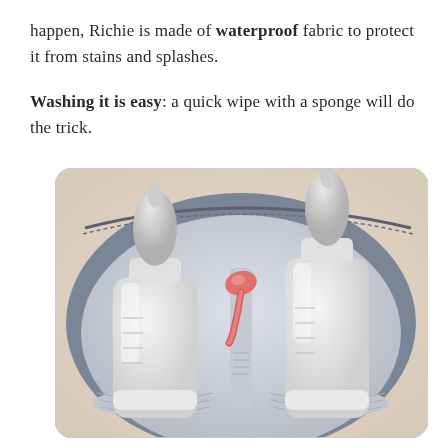happen, Richie is made of waterproof fabric to protect it from stains and splashes.
Washing it is easy: a quick wipe with a sponge will do the trick.
[Figure (photo): Open insulated baby bottle bag showing two baby bottles with silicone nipples standing in elastic-bottom compartments, and a pink spoon resting in the center divider. Bag interior is light gray fabric with a zipper visible along the curved top edge.]